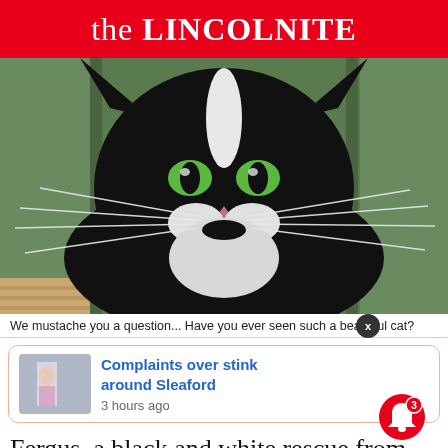the LINCOLNITE
[Figure (photo): Close-up photo of a black and white cat with distinctive mustache markings and bright green eyes, looking upward against a green door background]
We mustache you a question... Have you ever seen such a beautiful cat?
Complaints over stink around Sleaford
3 hours ago
Fergus, a black and white rescue from